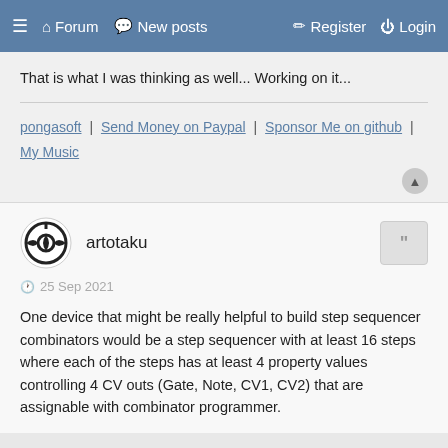Forum | New posts | Register | Login
That is what I was thinking as well... Working on it...
pongasoft | Send Money on Paypal | Sponsor Me on github | My Music
artotaku
25 Sep 2021
One device that might be really helpful to build step sequencer combinators would be a step sequencer with at least 16 steps where each of the steps has at least 4 property values controlling 4 CV outs (Gate, Note, CV1, CV2) that are assignable with combinator programmer.